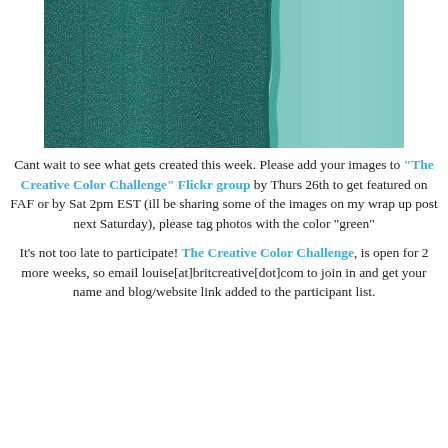[Figure (photo): Close-up of dark teal/green and light teal paint swatches side by side on textured canvas]
Cant wait to see what gets created this week. Please add your images to "The Creative Color Challenge" Flickr group by Thurs 26th to get featured on FAF or by Sat 2pm EST (ill be sharing some of the images on my wrap up post next Saturday), please tag photos with the color "green"
It's not too late to participate! The Creative Color Challenge, is open for 2 more weeks, so email louise[at]britcreative[dot]com to join in and get your name and blog/website link added to the participant list.